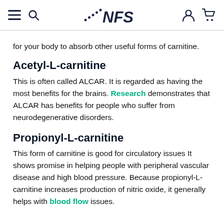NFS (logo with hamburger, search, user, cart icons)
for your body to absorb other useful forms of carnitine.
Acetyl-L-carnitine
This is often called ALCAR. It is regarded as having the most benefits for the brains. Research demonstrates that ALCAR has benefits for people who suffer from neurodegenerative disorders.
Propionyl-L-carnitine
This form of carnitine is good for circulatory issues It shows promise in helping people with peripheral vascular disease and high blood pressure. Because propionyl-L-carnitine increases production of nitric oxide, it generally helps with blood flow issues.